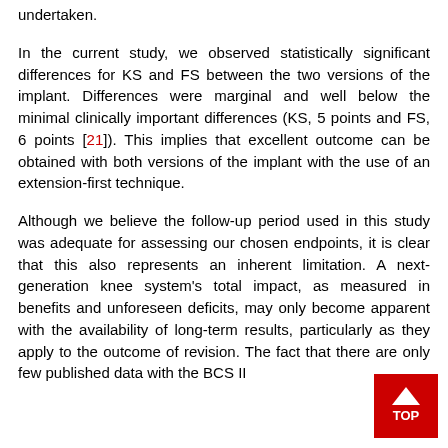undertaken.
In the current study, we observed statistically significant differences for KS and FS between the two versions of the implant. Differences were marginal and well below the minimal clinically important differences (KS, 5 points and FS, 6 points [21]). This implies that excellent outcome can be obtained with both versions of the implant with the use of an extension-first technique.
Although we believe the follow-up period used in this study was adequate for assessing our chosen endpoints, it is clear that this also represents an inherent limitation. A next-generation knee system's total impact, as measured in benefits and unforeseen deficits, may only become apparent with the availability of long-term results, particularly as they apply to the outcome of revision. The fact that there are only few published data with the BCS II